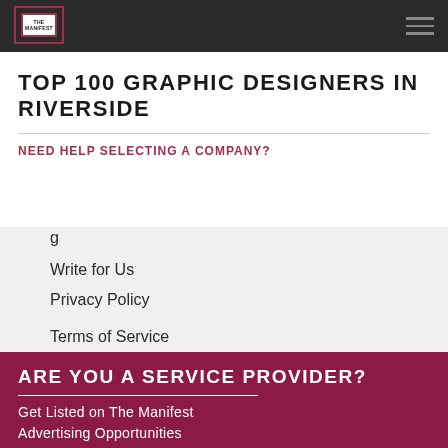THE MANIFEST
TOP 100 GRAPHIC DESIGNERS IN RIVERSIDE
NEED HELP SELECTING A COMPANY?
Write for Us
Privacy Policy
Terms of Service
ARE YOU A SERVICE PROVIDER?
Get Listed on The Manifest
Advertising Opportunities